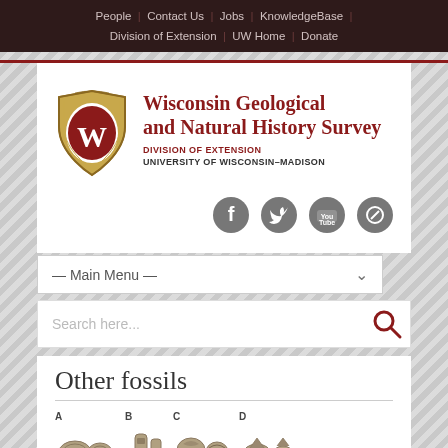People | Contact Us | Jobs | KnowledgeBase | Division of Extension | UW Home | Donate
[Figure (logo): Wisconsin Geological and Natural History Survey logo with UW–Madison shield and text]
[Figure (infographic): Social media icons: Facebook, Twitter, YouTube, Pinterest]
— Main Menu —
Search here...
Other fossils
[Figure (photo): Row of fossil images labeled A, B, C, D]